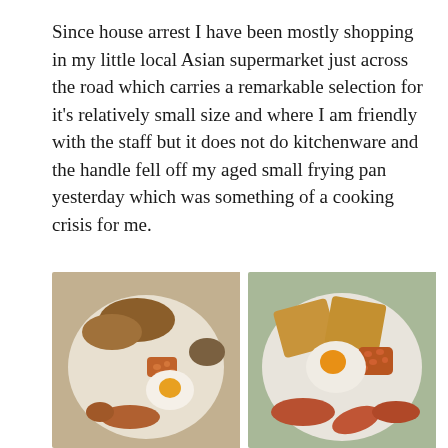Since house arrest I have been mostly shopping in my little local Asian supermarket just across the road which carries a remarkable selection for it's relatively small size and where I am friendly with the staff but it does not do kitchenware and the handle fell off my aged small frying pan yesterday which was something of a cooking crisis for me.
[Figure (photo): Two food photos side by side showing plates of cooked breakfast food including fried eggs, baked beans, sausages, pancakes/toast, viewed from above.]